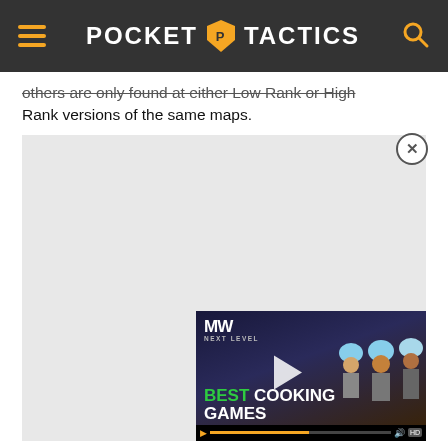POCKET TACTICS
others are only found at either Low Rank or High Rank versions of the same maps.
[Figure (screenshot): Advertisement area with a video ad thumbnail showing 'BEST COOKING GAMES' with animated chef characters, a play button, MW Next Level logo, and video playback controls. A close (X) button is visible in the top right corner of the ad.]